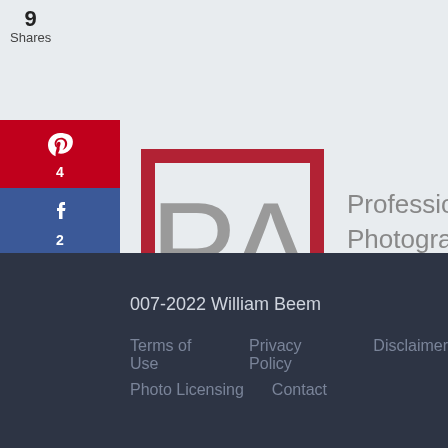9
Shares
[Figure (logo): Professional Photographers of America logo with PA monogram in a red square bracket frame]
007-2022 William Beem
Terms of Use   Privacy Policy   Disclaimer
Photo Licensing   Contact